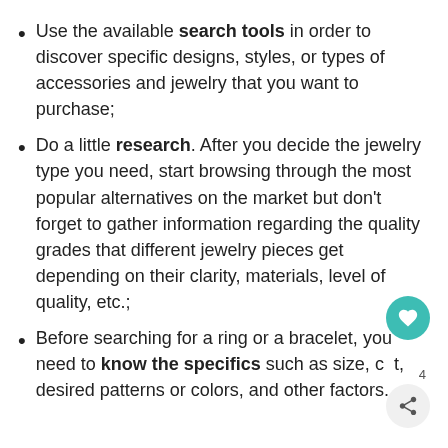Use the available search tools in order to discover specific designs, styles, or types of accessories and jewelry that you want to purchase;
Do a little research. After you decide the jewelry type you need, start browsing through the most popular alternatives on the market but don't forget to gather information regarding the quality grades that different jewelry pieces get depending on their clarity, materials, level of quality, etc.;
Before searching for a ring or a bracelet, you need to know the specifics such as size, desired patterns or colors, and other factors.